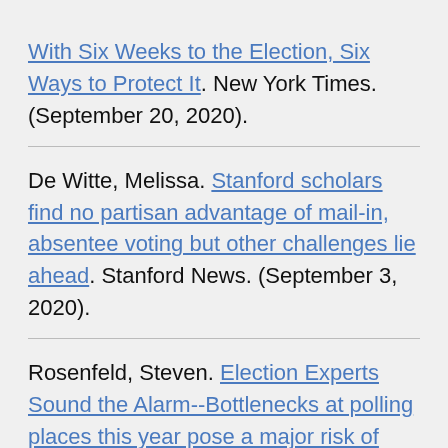With Six Weeks to the Election, Six Ways to Protect It. New York Times. (September 20, 2020).
De Witte, Melissa. Stanford scholars find no partisan advantage of mail-in, absentee voting but other challenges lie ahead. Stanford News. (September 3, 2020).
Rosenfeld, Steven. Election Experts Sound the Alarm--Bottlenecks at polling places this year pose a major risk of delays. AlterNet. (September 2, 2020).